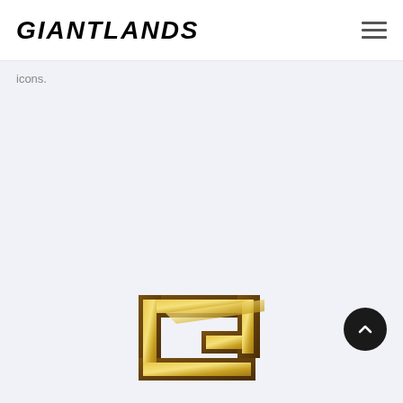GIANTLANDS
icons.
[Figure (logo): Giantlands stylized G logo icon in gold/brown metallic colors with angular geometric design]
[Figure (other): Dark circular scroll-to-top button with upward chevron arrow]